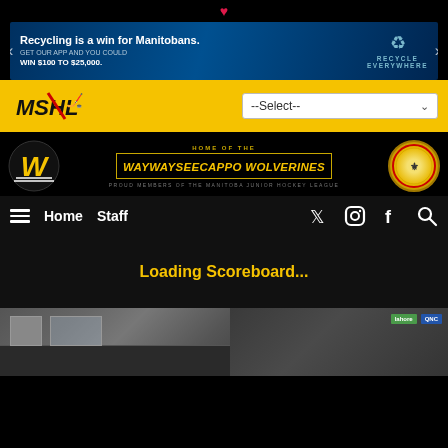[Figure (screenshot): Heart icon at top of page]
[Figure (photo): Recycling is a win for Manitobans advertisement banner. Text: GET OUR APP AND YOU COULD WIN $100 TO $25,000. Shows recycling bird logo and RECYCLE EVERYWHERE text.]
[Figure (logo): MSHL logo on yellow navigation bar with --Select-- dropdown]
[Figure (screenshot): Waywayseecappo Wolverines team header. HOME OF THE WAYWAYSEECAPPO WOLVERINES. PROUD MEMBERS OF THE MANITOBA JUNIOR HOCKEY LEAGUE. Shows team logos on left and right.]
Home   Staff
Loading Scoreboard...
[Figure (photo): Bottom photo of arena exterior with sponsor banners including green and blue logos]